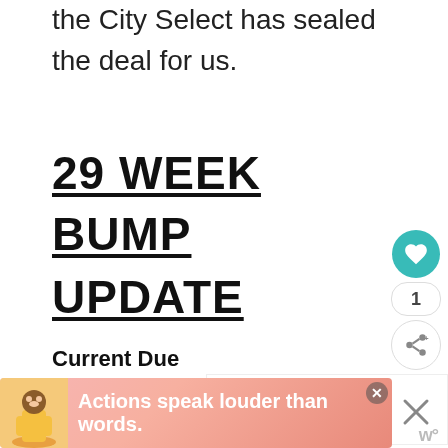the City Select has sealed the deal for us.
29 WEEK BUMP UPDATE
Current Due Date: 12/1/13- BUT
I'm scheduled for my
[Figure (infographic): Sidebar with heart/favorite icon (teal circle), count '1', and share icon (white circle with share symbol)]
[Figure (infographic): WHAT'S NEXT panel with food image thumbnail and text 'BBQ Chip Shake and...']
[Figure (infographic): Ad banner with figure illustration and text 'Actions speak louder than words.']